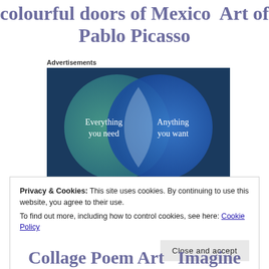colourful doors of Mexico  Art of Pablo Picasso
Advertisements
[Figure (infographic): Venn diagram advertisement with two overlapping circles on a dark blue/green background. Left circle (teal/green) labeled 'Everything you need', right circle (blue) labeled 'Anything you want', overlapping region is lighter blue/grey.]
Privacy & Cookies: This site uses cookies. By continuing to use this website, you agree to their use. To find out more, including how to control cookies, see here: Cookie Policy
Collage Poem Art  Imagine